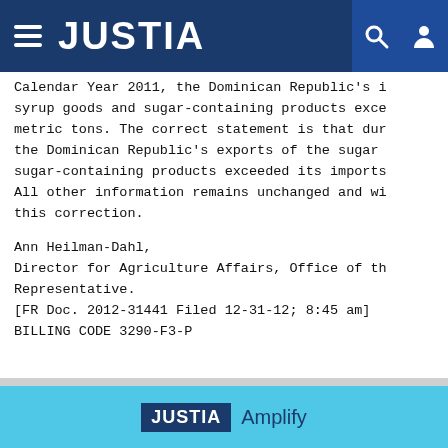JUSTIA
Calendar Year 2011, the Dominican Republic's imports of the sugar syrup goods and sugar-containing products exceeded... metric tons. The correct statement is that during... the Dominican Republic's exports of the sugar syrup and sugar-containing products exceeded its imports... All other information remains unchanged and will reflect this correction.
Ann Heilman-Dahl,
Director for Agriculture Affairs, Office of the United States Trade Representative.
[FR Doc. 2012-31441 Filed 12-31-12; 8:45 am]
BILLING CODE 3290-F3-P
JUSTIA Amplify